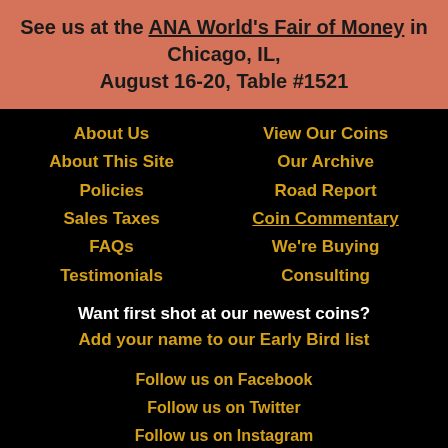See us at the ANA World's Fair of Money in Chicago, IL, August 16-20, Table #1521
About Us
About This Site
Policies
Sales Taxes
FAQs
Testimonials
View Our Coins
Our Archive
Road Report
Coin Commentary
We're Buying
Consulting
Want first shot at our newest coins? Add your name to our Early Bird list
Follow us on Facebook
Follow us on Twitter
Follow us on Instagram
®2022 Coin Rarities Online. All rights reserved. Founded MCMLXXIX